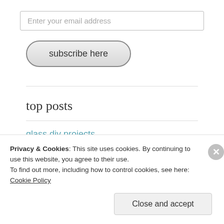Enter your email address
subscribe here
top posts
glass diy projects
Privacy & Cookies: This site uses cookies. By continuing to use this website, you agree to their use.
To find out more, including how to control cookies, see here: Cookie Policy
Close and accept